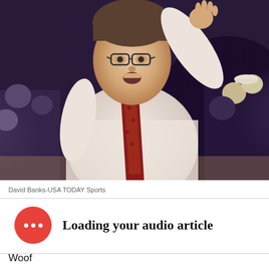[Figure (photo): A basketball coach in a white shirt and dark red patterned tie, gesturing with his right arm raised, wearing glasses, mouth open as if shouting. Crowd visible in background wearing purple/dark clothing.]
David Banks-USA TODAY Sports
Loading your audio article
Woof